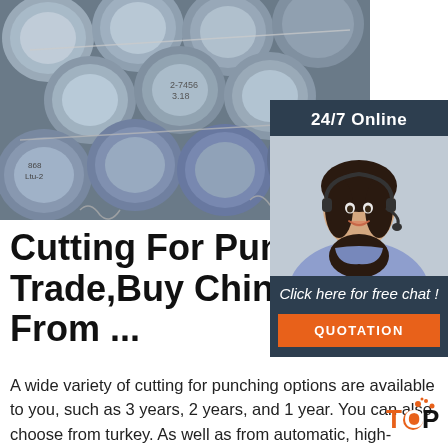[Figure (photo): Stack of metal cylindrical rods/bars bundled together with wire, viewed from the end showing circular cross-sections with handwritten labels]
[Figure (photo): Customer service representative woman with headset smiling, overlaid on dark blue sidebar widget with '24/7 Online' header, 'Click here for free chat!' text, and orange QUOTATION button]
Cutting For Punching C... Trade,Buy China Direc... From ...
A wide variety of cutting for punching options are available to you, such as 3 years, 2 years, and 1 year. You can also choose from turkey. As well as from automatic, high-accuracy, and multifunctional. And whether cutting for punching
[Figure (logo): TOP logo with orange dot/sparkle design]